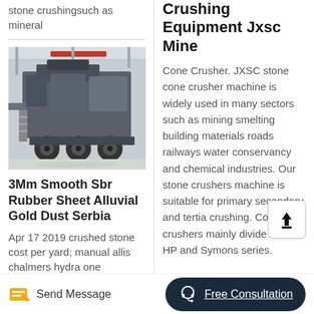stone crushingsuch as mineral
[Figure (photo): Large mobile crushing machine/equipment on wheels inside an industrial warehouse with red overhead crane]
3Mm Smooth Sbr Rubber Sheet Alluvial Gold Dust Serbia
Apr 17 2019 crushed stone cost per yard; manual allis chalmers hydra one
Crushing Equipment Jxsc Mine
Cone Crusher. JXSC stone cone crusher machine is widely used in many sectors such as mining smelting building materials roads railways water conservancy and chemical industries. Our stone crushers machine is suitable for primary secondary and tertia crushing. Cone crushers mainly divide into GP HP and Symons series.
Send Message
Free Consultation